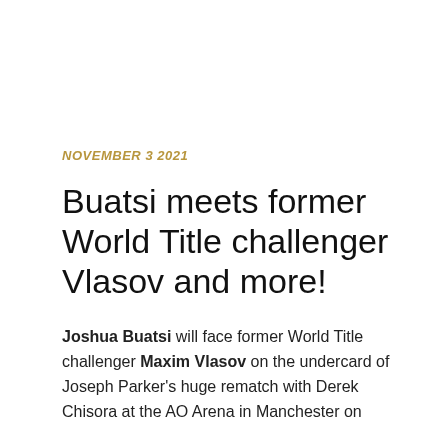NOVEMBER 3 2021
Buatsi meets former World Title challenger Vlasov and more!
Joshua Buatsi will face former World Title challenger Maxim Vlasov on the undercard of Joseph Parker's huge rematch with Derek Chisora at the AO Arena in Manchester on